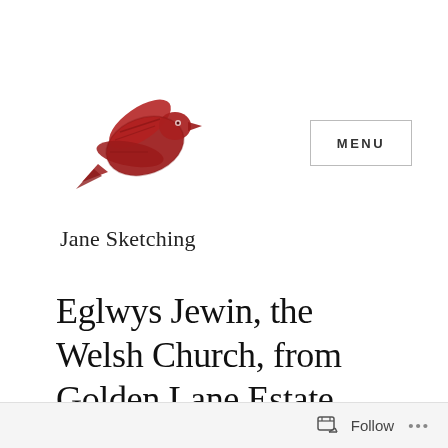[Figure (logo): Red bird/dove stamp logo illustration]
Jane Sketching
Eglwys Jewin, the Welsh Church, from Golden Lane Estate
Follow ...